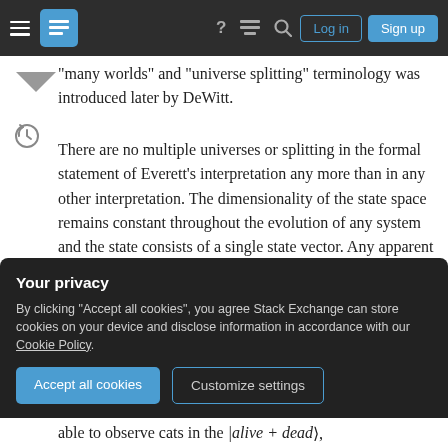Stack Exchange navigation bar with hamburger menu, logo, help, comments, search icons, Log in and Sign up buttons
"many worlds" and "universe splitting" terminology was introduced later by DeWitt.
There are no multiple universes or splitting in the formal statement of Everett's interpretation any more than in any other interpretation. The dimensionality of the state space remains constant throughout the evolution of any system and the state consists of a single state vector. Any apparent "splitting" is just the representation of the state-vector in physically meaningful bases becoming less sparse due to entanglement. In Everett's interpretation
Your privacy
By clicking "Accept all cookies", you agree Stack Exchange can store cookies on your device and disclose information in accordance with our Cookie Policy.
Accept all cookies    Customize settings
able to observe cats in the |alive + dead⟩,